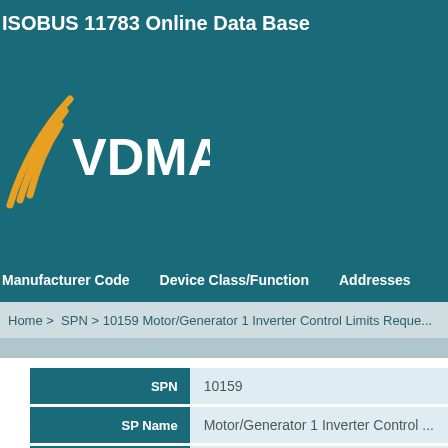ISOBUS 11783 Online Data Base
[Figure (logo): VDMA logo with golden wave lines and white VDMA text on teal background]
Manufacturer Code   Device Class/Function   Addresses
Home > SPN > 10159 Motor/Generator 1 Inverter Control Limits Reque...
| Field | Value |
| --- | --- |
| SPN | 10159 |
| SP Name | Motor/Generator 1 Inverter Control ... |
| SP Description | Not set |
| Sp Notes | Not set |
| Has Attachment | Not set |